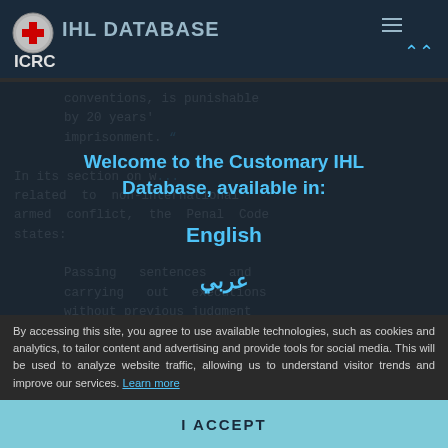IHL DATABASE ICRC
conventions, is punishable by 20 years' imprisonment.

In its section on w... related to non-international armed conflict, the Penal Code states:

Passing sentences and carrying out executions without previous judgment
Welcome to the Customary IHL Database, available in:
English
عربي
By accessing this site, you agree to use available technologies, such as cookies and analytics, to tailor content and advertising and provide tools for social media. This will be used to analyze website traffic, allowing us to understand visitor trends and improve our services. Learn more
I ACCEPT